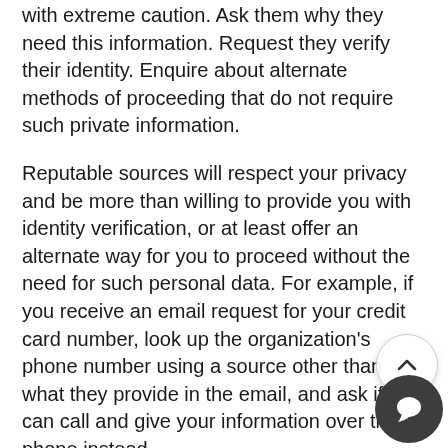with extreme caution. Ask them why they need this information. Request they verify their identity. Enquire about alternate methods of proceeding that do not require such private information.
Reputable sources will respect your privacy and be more than willing to provide you with identity verification, or at least offer an alternate way for you to proceed without the need for such personal data. For example, if you receive an email request for your credit card number, look up the organization's phone number using a source other than what they provide in the email, and ask if you can call and give your information over the phone instead.